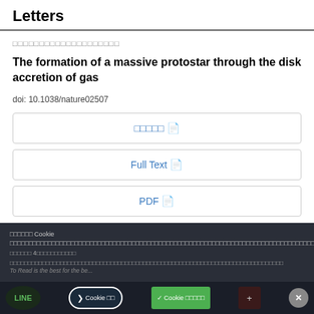Letters
□□□□□□□□□□□□□□□□□□□□
The formation of a massive protostar through the disk accretion of gas
doi: 10.1038/nature02507
□□□□□ [Full Text button]
Full Text
PDF
□□□□□□ Cookie □□□□□□□□□□□□□□□□□□□□□□□□□□□□□□□□□□□□□□□□□□□□□□□□□□□□□□□□□□□□□□□□□□□□□□□□□□□□□□□□□□□□□□□□□□□□□□□□□□□□□□□□□□□□□□□□□□□□□□□□□□□□□□□□□□□□□□□□□□□□□□□□□□□□□□□□□□□□□□□□□□□□□□□□□□